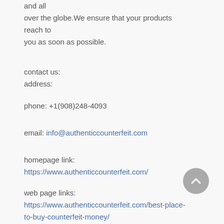and all over the globe. We ensure that your products reach to you as soon as possible.
contact us:
address:
phone: +1(908)248-4093
email: info@authenticcounterfeit.com
homepage link:
https://www.authenticcounterfeit.com/
web page links:
https://www.authenticcounterfeit.com/best-place-to-buy-counterfeit-money/
https://www.authenticcounterfeit.com/first-grade-counterfeit-banknotes-for-all-currencies/
https://www.authenticcounterfeit.com/online-